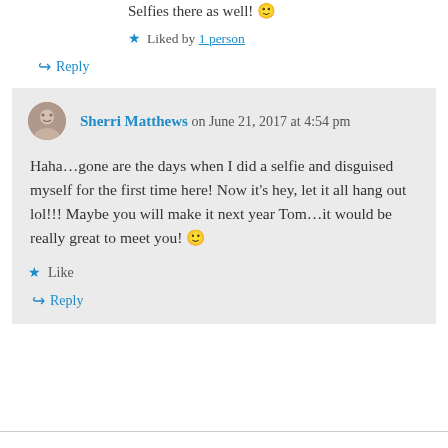Selfies there as well! 🙂
★ Liked by 1 person
↪ Reply
Sherri Matthews on June 21, 2017 at 4:54 pm
Haha…gone are the days when I did a selfie and disguised myself for the first time here! Now it's hey, let it all hang out lol!!! Maybe you will make it next year Tom…it would be really great to meet you! 🙂
★ Like
↪ Reply